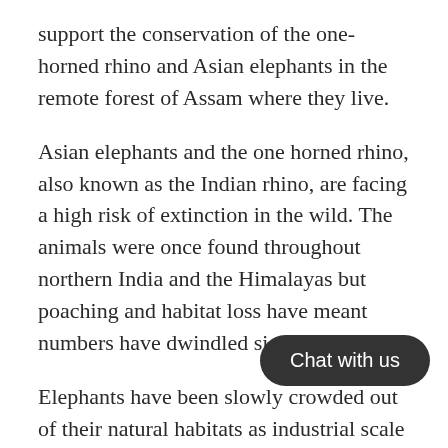support the conservation of the one-horned rhino and Asian elephants in the remote forest of Assam where they live.
Asian elephants and the one horned rhino, also known as the Indian rhino, are facing a high risk of extinction in the wild. The animals were once found throughout northern India and the Himalayas but poaching and habitat loss have meant numbers have dwindled significantly.
Elephants have been slowly crowded out of their natural habitats as industrial scale tea plantations have taken over large tracts of land. Still elephants travel along ancient migratory routes across the state and invariably have to move through tea plantations. Unfortunately, many of these end up falling into trenches on [obscured by chat widget]. They also face other dangers such as [obscured by chat widget], pesticide poisoning, electric fencing, razor wires or